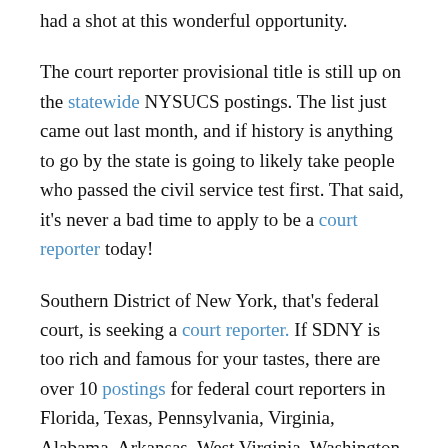had a shot at this wonderful opportunity.
The court reporter provisional title is still up on the statewide NYSUCS postings. The list just came out last month, and if history is anything to go by the state is going to likely take people who passed the civil service test first. That said, it's never a bad time to apply to be a court reporter today!
Southern District of New York, that's federal court, is seeking a court reporter. If SDNY is too rich and famous for your tastes, there are over 10 postings for federal court reporters in Florida, Texas, Pennsylvania, Virginia, Alabama, Arkansas, West Virginia, Washington State, and Washington D.C. It may be a misnomer, but the D.C. posting says district courts and